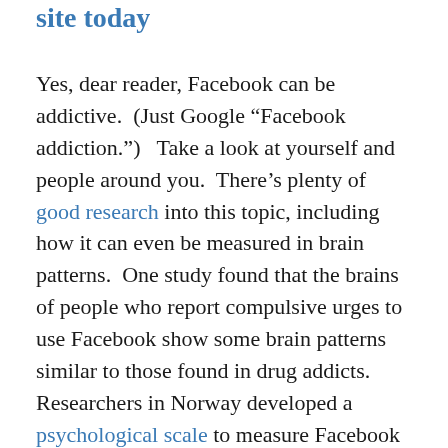site today
Yes, dear reader, Facebook can be addictive.  (Just Google “Facebook addiction.”)   Take a look at yourself and people around you.  There’s plenty of good research into this topic, including how it can even be measured in brain patterns.  One study found that the brains of people who report compulsive urges to use Facebook show some brain patterns similar to those found in drug addicts.  Researchers in Norway developed a psychological scale to measure Facebook addiction, the first of its kind.  Do you have a fear of missing out (FoMO)?  Are you really addicted?  Take one or both of these quizzes and find out, if you dare